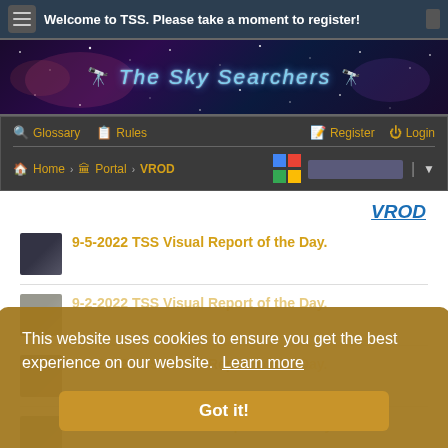Welcome to TSS. Please take a moment to register!
[Figure (illustration): The Sky Searchers banner with starfield background and telescope icon]
Glossary  Rules  Register  Login
Home › Portal › VROD
VROD
9-5-2022 TSS Visual Report of the Day.
9-2-2022 TSS Visual Report of the Day.
9-1-2022 TSS Visual Report of the Day.
8-31-2022 TSS Visual Report of the Day.
This website uses cookies to ensure you get the best experience on our website. Learn more
Got it!